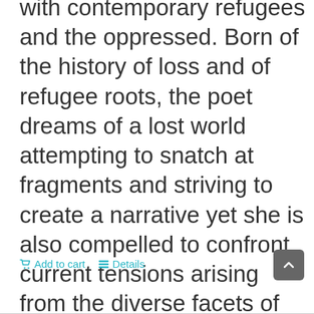with contemporary refugees and the oppressed. Born of the history of loss and of refugee roots, the poet dreams of a lost world attempting to snatch at fragments and striving to create a narrative yet she is also compelled to confront current tensions arising from the diverse facets of her identity. Engaged in the attempt to resist negative representations projected onto herself, she struggles to define herself.
Add to cart   Details